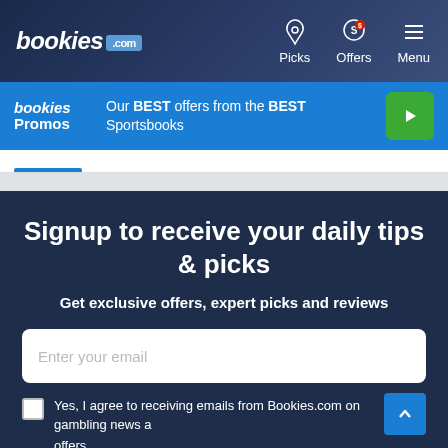[Figure (screenshot): bookies.com navigation bar with logo, Picks icon, Offers icon, and Menu icon on dark blue background]
[Figure (screenshot): Bookies Promos banner — 'Our BEST offers from the BEST Sportsbooks' on blue background with green play button]
Signup to receive your daily tips & picks
Get exclusive offers, expert picks and reviews
Enter your email
Yes, I agree to receiving emails from Bookies.com on gambling news and offers.
SUBSCRIBE